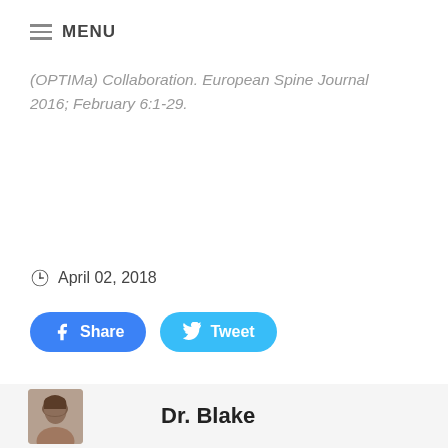MENU
(OPTIMa) Collaboration. European Spine Journal 2016; February 6:1-29.
April 02, 2018
[Figure (other): Facebook Share button and Twitter Tweet button]
[Figure (photo): Dr. Blake author photo — man with dark hair]
Dr. Blake